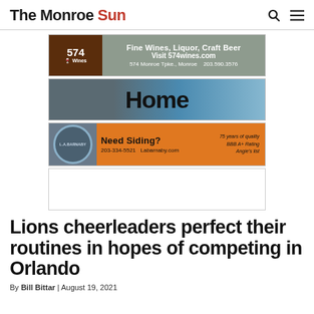The Monroe Sun
[Figure (illustration): 574 Wines advertisement: Fine Wines, Liquor, Craft Beer. Visit 574wines.com. 574 Monroe Tpke., Monroe. 203.590.3576]
[Figure (illustration): Home advertisement banner with building and sky background, large bold text 'Home']
[Figure (illustration): L.A. Barnaby siding advertisement: Need Siding? 203-334-5521 Labarnaby.com. 75 years of quality. BBB A+ Rating. Angie's list.]
[Figure (illustration): Empty/blank advertisement box]
Lions cheerleaders perfect their routines in hopes of competing in Orlando
By Bill Bittar | August 19, 2021